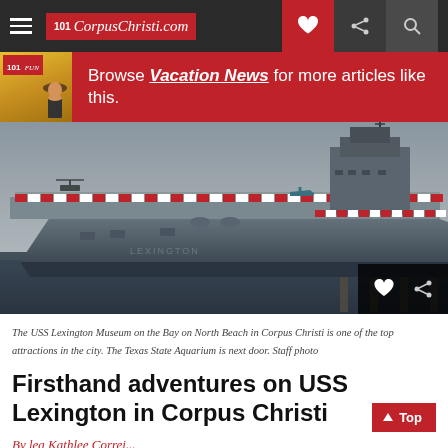CorpusChristi.com navigation bar
Browse Vacation News for more articles like this.
[Figure (photo): Aerial side view of USS Lexington aircraft carrier docked at North Beach in Corpus Christi, decorated with American flags. Overcast sky. Ships superstructure and flight deck visible.]
The USS Lexington Museum on the Bay on North Beach in Corpus Christi is one of the top attractions in the city. The Texas State Aquarium is next door. Staff photo
Firsthand adventures on USS Lexington in Corpus Christi
By lea Kathlee Correi...